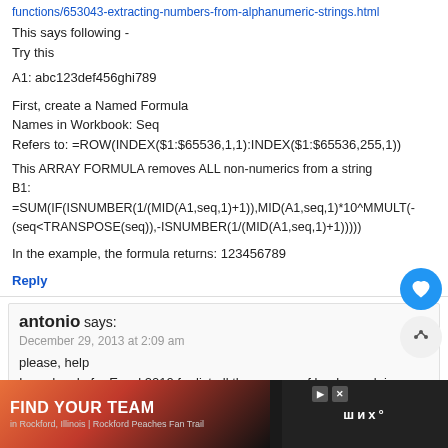functions/653043-extracting-numbers-from-alphanumeric-strings.html
This says following -
Try this
A1: abc123def456ghi789
First, create a Named Formula
Names in Workbook: Seq
Refers to: =ROW(INDEX($1:$65536,1,1):INDEX($1:$65536,255,1))
This ARRAY FORMULA removes ALL non-numerics from a string
B1:
=SUM(IF(ISNUMBER(1/(MID(A1,seq,1)+1)),MID(A1,seq,1)*10^MMULT(-(seq<TRANSPOSE(seq)),-ISNUMBER(1/(MID(A1,seq,1)+1)))))
In the example, the formula returns: 123456789
Reply
antonio says:
December 29, 2013 at 2:09 am
please, help
I need code for Excel 2010 for list all the macros of book excel, in one sheet. name of the macro and sheet of the macro
many thanks
Reply
Hui... says:
WHAT'S NEXT → Learn SQL for Data Analysi...